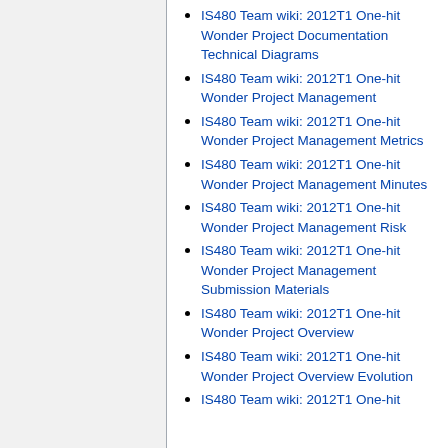IS480 Team wiki: 2012T1 One-hit Wonder Project Documentation Technical Diagrams
IS480 Team wiki: 2012T1 One-hit Wonder Project Management
IS480 Team wiki: 2012T1 One-hit Wonder Project Management Metrics
IS480 Team wiki: 2012T1 One-hit Wonder Project Management Minutes
IS480 Team wiki: 2012T1 One-hit Wonder Project Management Risk
IS480 Team wiki: 2012T1 One-hit Wonder Project Management Submission Materials
IS480 Team wiki: 2012T1 One-hit Wonder Project Overview
IS480 Team wiki: 2012T1 One-hit Wonder Project Overview Evolution
IS480 Team wiki: 2012T1 One-hit